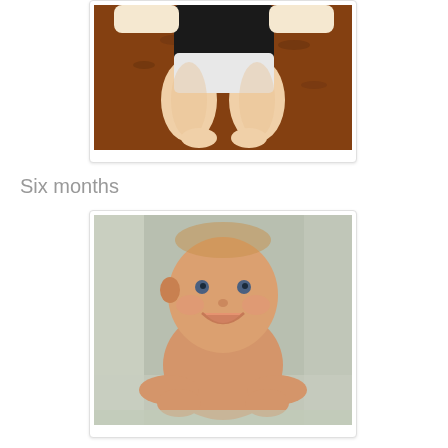[Figure (photo): Close-up photo of a baby's chunky legs and lower body in a diaper, being held up over a mulch/wood chip playground ground. The baby is wearing a dark top and white diaper.]
Six months
[Figure (photo): A smiling baby sitting in a bathtub, looking upward at the camera. The baby is naked, approximately six months old, with a happy expression.]